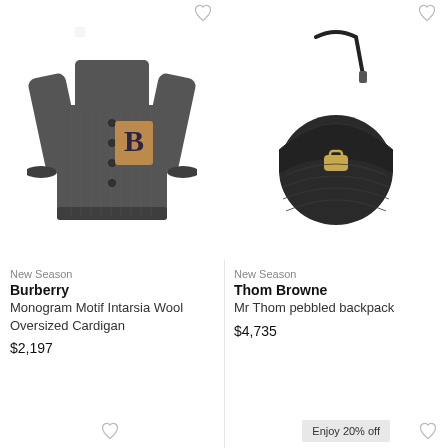[Figure (photo): Dark grey chunky knit oversized cardigan with Burberry monogram motif patch on left chest, button-front closure]
New Season
Burberry
Monogram Motif Intarsia Wool Oversized Cardigan
$2,197
[Figure (photo): Black pebbled leather Thom Browne Mr Thom backpack with gold lock clasp and single shoulder strap]
New Season
Thom Browne
Mr Thom pebbled backpack
$4,735
Enjoy 20% off